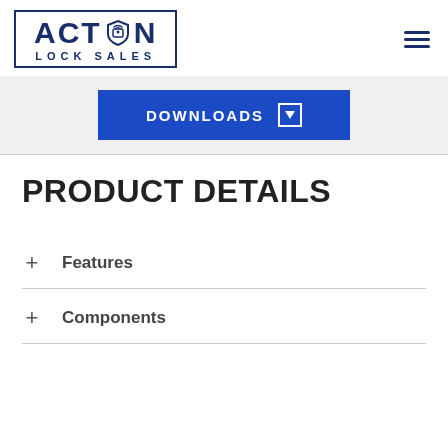[Figure (logo): Action Lock Sales logo with shield/NFC icon in the center of the word ACTION, bordered rectangle, with LOCK SALES subtitle below]
DOWNLOADS
PRODUCT DETAILS
+ Features
+ Components